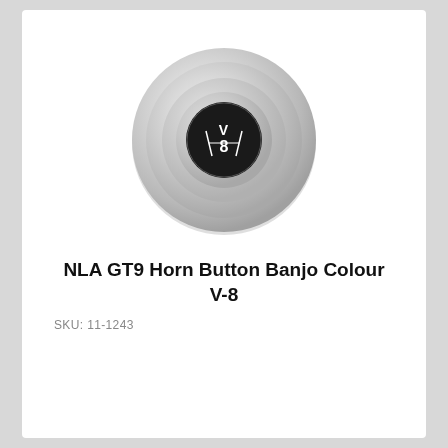[Figure (photo): A circular chrome/nickel-plated horn button with a concentric ring design. In the center is a black circular emblem featuring the V8 logo in white/silver script lettering.]
NLA GT9 Horn Button Banjo Colour V-8
SKU: 11-1243